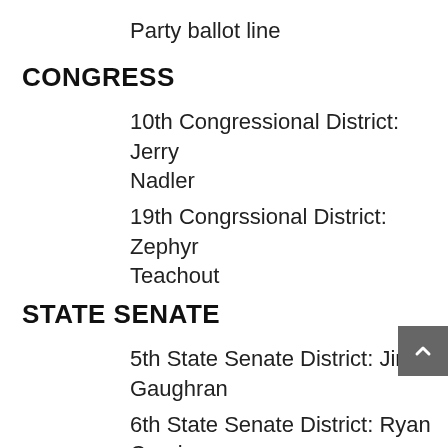Party ballot line
CONGRESS
10th Congressional District: Jerry Nadler
19th Congrssional District: Zephyr Teachout
STATE SENATE
5th State Senate District: Jim Gaughran
6th State Senate District: Ryan Cronin
7th State Senate District: Adam Haber
9th State Senate District: Todd Kaminsky
10th State Senate District: [continues]